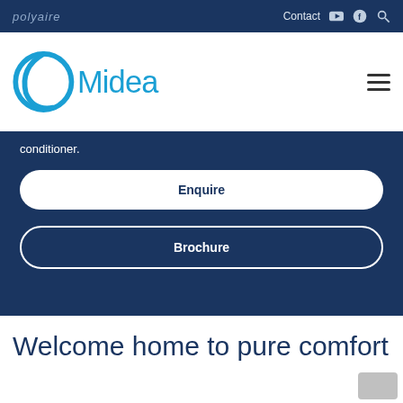polyaire — Contact [YouTube] [Facebook] [Search]
[Figure (logo): Midea logo — blue circular swirl with 'Midea' wordmark in blue on white background]
conditioner.
Enquire
Brochure
Welcome home to pure comfort